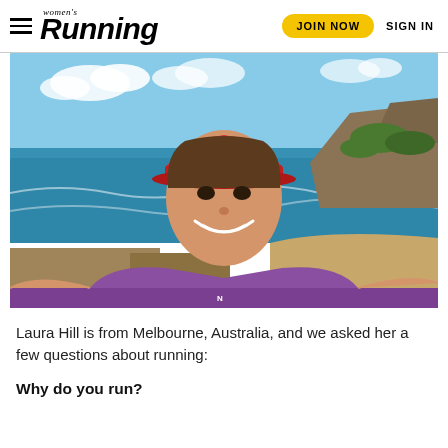women's Running | JOIN NOW | SIGN IN
[Figure (photo): Selfie of Laura Hill, a woman wearing a red visor and purple New Balance athletic shirt, smiling at the camera with a scenic Australian coastal cliff and ocean backdrop behind her.]
Laura Hill is from Melbourne, Australia, and we asked her a few questions about running:
Why do you run?